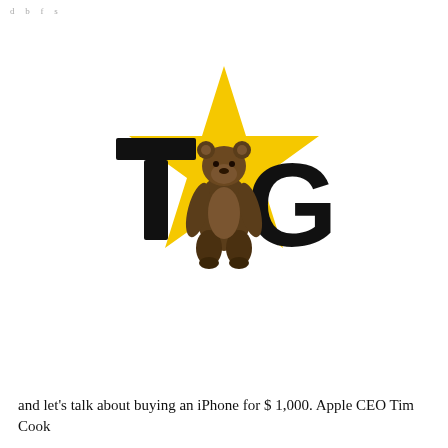d b f s
[Figure (logo): TBG logo featuring bold black letters T and G with a yellow star in the center background and a brown grizzly bear standing upright overlaid on the star between the letters.]
and let’s talk about buying an iPhone for $ 1,000. Apple CEO Tim Cook